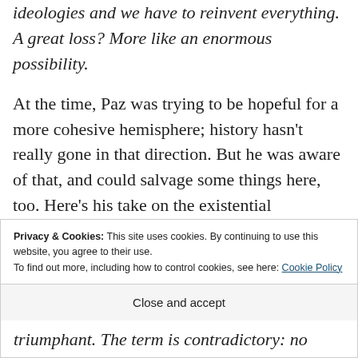ideologies and we have to reinvent everything. A great loss? More like an enormous possibility.
At the time, Paz was trying to be hopeful for a more cohesive hemisphere; history hasn't really gone in that direction. But he was aware of that, and could salvage some things here, too. Here's his take on the existential uncertainty of a world after
Privacy & Cookies: This site uses cookies. By continuing to use this website, you agree to their use.
To find out more, including how to control cookies, see here: Cookie Policy
Close and accept
triumphant. The term is contradictory: no